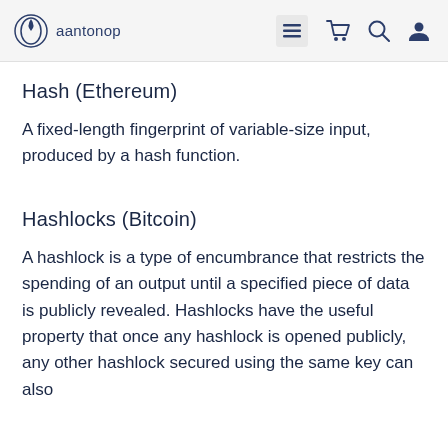aantonop
Hash (Ethereum)
A fixed-length fingerprint of variable-size input, produced by a hash function.
Hashlocks (Bitcoin)
A hashlock is a type of encumbrance that restricts the spending of an output until a specified piece of data is publicly revealed. Hashlocks have the useful property that once any hashlock is opened publicly, any other hashlock secured using the same key can also